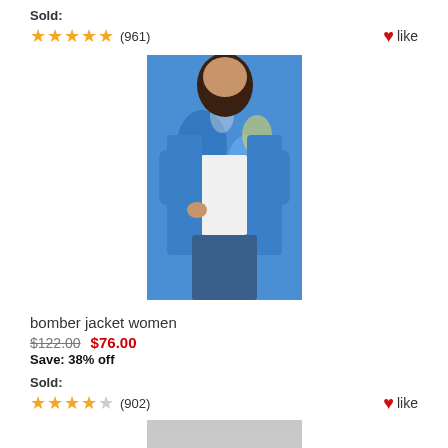Sold:
★★★★★ (961)  ♥ like
[Figure (photo): Woman wearing a blue patterned bomber jacket with white t-shirt and blue jeans]
bomber jacket women
$122.00  $76.00
Save: 38% off
Sold:
★★★★☆ (902)  ♥ like
[Figure (photo): Woman wearing a dark gray bomber jacket over a gray top with black pants]